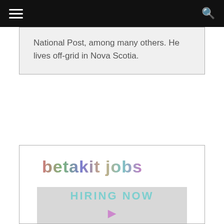Navigation bar with hamburger menu and search icon
National Post, among many others. He lives off-grid in Nova Scotia.
[Figure (logo): betakit jobs logo in faded grey/multi-color text with a 'HIRING NOW' banner image below it]
HIRING NOW